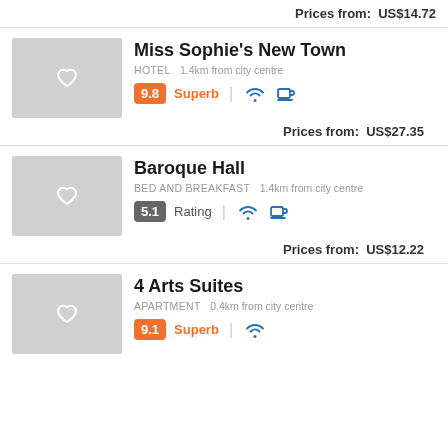Prices from:  US$14.72
Miss Sophie's New Town
HOTEL  1.4km from city centre
9.8  Superb
Prices from:  US$27.35
Baroque Hall
BED AND BREAKFAST  1.4km from city centre
5.1  Rating
Prices from:  US$12.22
4 Arts Suites
APARTMENT  0.4km from city centre
9.1  Superb